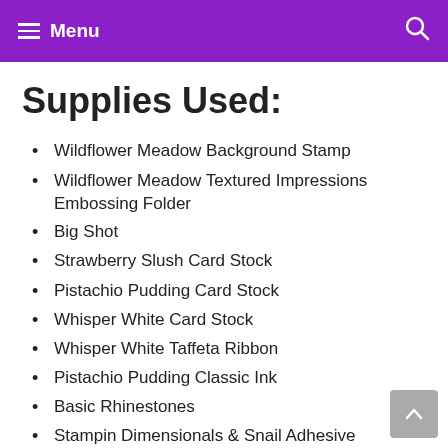Menu
Supplies Used:
Wildflower Meadow Background Stamp
Wildflower Meadow Textured Impressions Embossing Folder
Big Shot
Strawberry Slush Card Stock
Pistachio Pudding Card Stock
Whisper White Card Stock
Whisper White Taffeta Ribbon
Pistachio Pudding Classic Ink
Basic Rhinestones
Stampin Dimensionals & Snail Adhesive